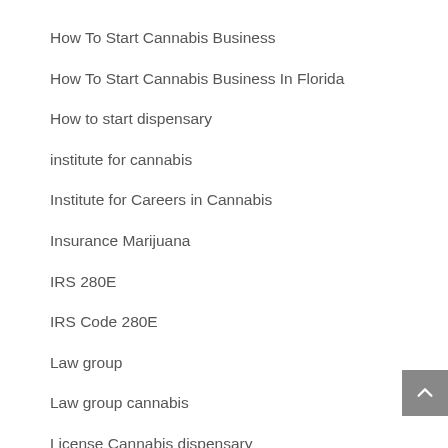How To Start Cannabis Business
How To Start Cannabis Business In Florida
How to start dispensary
institute for cannabis
Institute for Careers in Cannabis
Insurance Marijuana
IRS 280E
IRS Code 280E
Law group
Law group cannabis
License Cannabis dispensary
Marijuana
Marijuana Academy
Marijuana accounting
Marijuana application